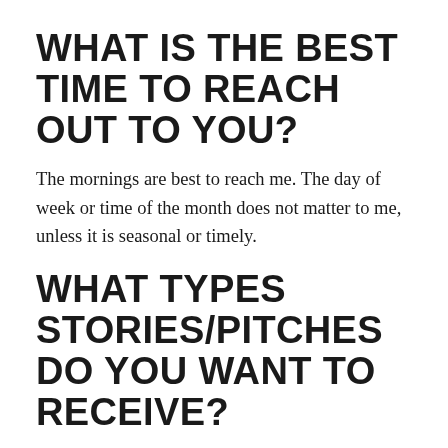WHAT IS THE BEST TIME TO REACH OUT TO YOU?
The mornings are best to reach me. The day of week or time of the month does not matter to me, unless it is seasonal or timely.
WHAT TYPES STORIES/PITCHES DO YOU WANT TO RECEIVE?
I love receiving pitches on new brands, collections, partnerships, events (in California), and lifestyle products. But, all from a plus perspective. While I am a lifestyle blog and cover beauty, tech, and